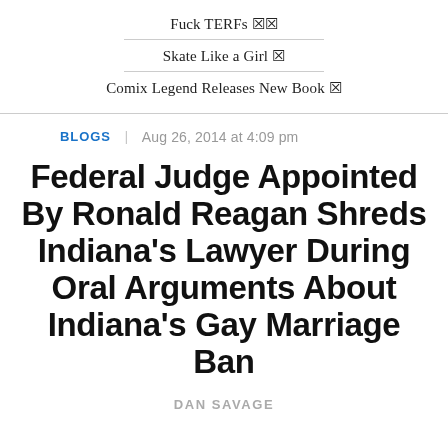Fuck TERFs 🏳️‍⚧️
Skate Like a Girl 🛹
Comix Legend Releases New Book 📚
BLOGS | Aug 26, 2014 at 4:09 pm
Federal Judge Appointed By Ronald Reagan Shreds Indiana's Lawyer During Oral Arguments About Indiana's Gay Marriage Ban
DAN SAVAGE